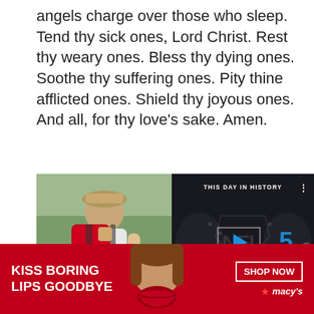angels charge over those who sleep. Tend thy sick ones, Lord Christ. Rest thy weary ones. Bless thy dying ones. Soothe thy suffering ones. Pity thine afflicted ones. Shield thy joyous ones. And all, for thy love's sake. Amen.
[Figure (photo): Left: person wearing backpack labeled 'Relief' seen from behind. Right: video player overlay showing NFL logo, play button, day number 5, AUGUST label, progress bar, and THIS DAY IN HISTORY label on dark background.]
[Figure (advertisement): Red banner ad: KISS BORING LIPS GOODBYE on left, face with red lips in center, SHOP NOW button and Macys logo on right.]